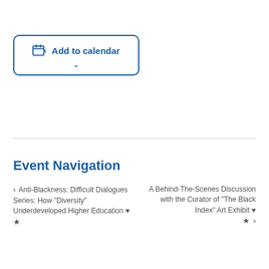[Figure (other): Add to calendar button with calendar icon and dropdown chevron, styled with blue border and text]
Anti-Blackness: Difficult Dialogues Series: How "Diversity" Underdeveloped Higher Education ♥ ★
Event Navigation
A Behind-The-Scenes Discussion with the Curator of "The Black Index" Art Exhibit ♥ ★